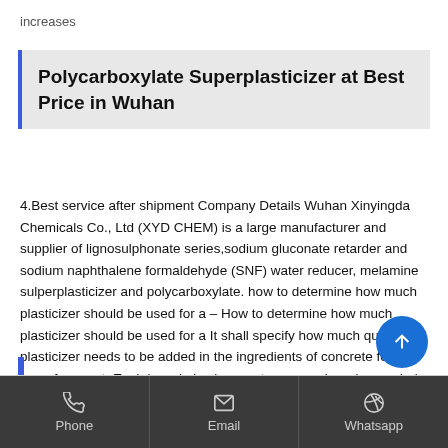increases
Polycarboxylate Superplasticizer at Best Price in Wuhan
4.Best service after shipment Company Details Wuhan Xinyingda Chemicals Co., Ltd (XYD CHEM) is a large manufacturer and supplier of lignosulphonate series,sodium gluconate retarder and sodium naphthalene formaldehyde (SNF) water reducer, melamine sulperplasticizer and polycarboxylate. how to determine how much plasticizer should be used for a – How to determine how much plasticizer should be used for a It shall specify how much quantity of plasticizer needs to be added in the ingredients of concrete for one bag of cement. Each brand also has customer service who can help you in finalizing the exact
Phone   Email   Whatsapp